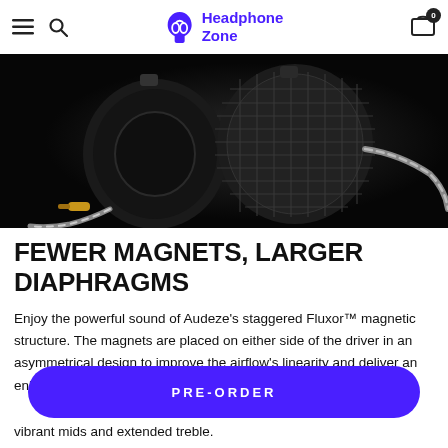Headphone Zone
[Figure (photo): Dark product photo of Audeze over-ear planar magnetic headphones viewed from the rear, showing circular grille with mesh pattern and braided silver/black cable with gold connector, against a black background.]
FEWER MAGNETS, LARGER DIAPHRAGMS
Enjoy the powerful sound of Audeze's staggered Fluxor™ magnetic structure. The magnets are placed on either side of the driver in an asymmetrical design to improve the airflow's linearity and deliver an enhanced resolution and transparency. This, and vibrant mids and extended treble.